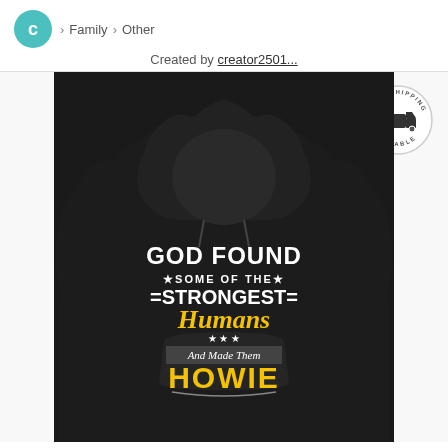C > Family > Other
Created by creator2501...
[Figure (photo): Black hoodie sweatshirt with text: GOD FOUND *SOME OF THE* =STRONGEST= Humans *** And Made Them HOWIE]
[Figure (logo): Rush Shipping Available circular badge with delivery truck icon]